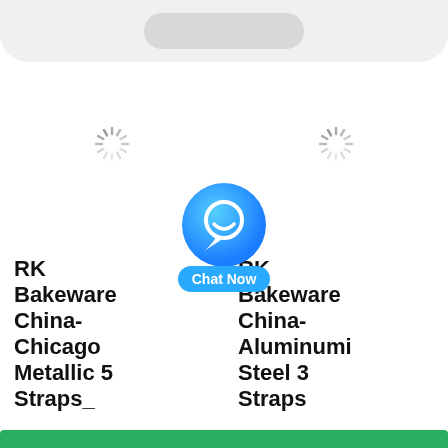[Figure (screenshot): Top gray rounded pill/bar UI element]
[Figure (illustration): Loading spinner icon in left product panel]
[Figure (illustration): Loading spinner icon in right product panel]
[Figure (illustration): Blue circle chat bubble icon with white smiley face and 'Chat Now' label below]
RK Bakeware China-Chicago Metallic 5 Straps_
RK Bakeware China-Aluminumi Steel 3 Straps